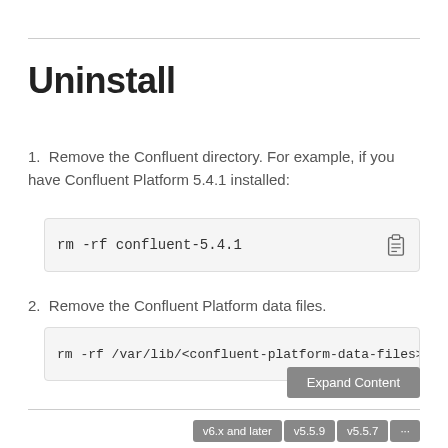Uninstall
1. Remove the Confluent directory. For example, if you have Confluent Platform 5.4.1 installed:
rm -rf confluent-5.4.1
2. Remove the Confluent Platform data files.
rm -rf /var/lib/<confluent-platform-data-files>
Expand Content
v6.x and later   v5.5.9   v5.5.7   ...